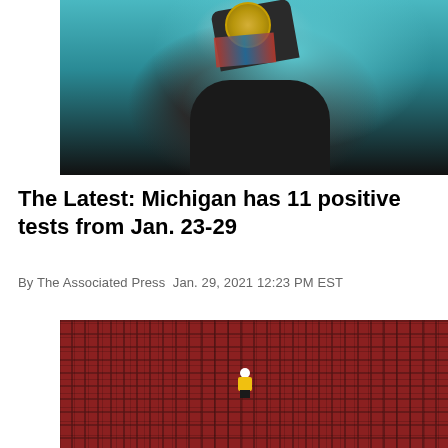[Figure (photo): A person holding up a medal, wearing a black top, in front of a teal/blue background with a ribbon around their neck]
The Latest: Michigan has 11 positive tests from Jan. 23-29
By The Associated Press  Jan. 29, 2021 12:23 PM EST
[Figure (photo): A lone worker in yellow safety gear standing among rows of empty red stadium seats]